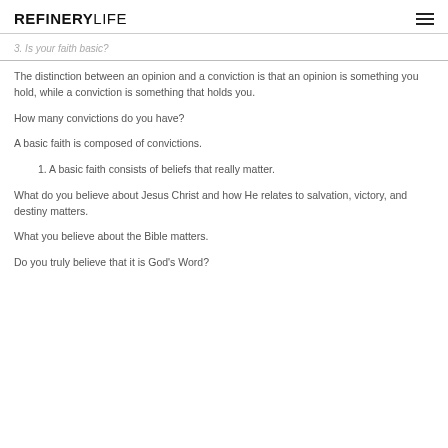REFINERYLIFE
3. Is your faith basic?
The distinction between an opinion and a conviction is that an opinion is something you hold, while a conviction is something that holds you.
How many convictions do you have?
A basic faith is composed of convictions.
1. A basic faith consists of beliefs that really matter.
What do you believe about Jesus Christ and how He relates to salvation, victory, and destiny matters.
What you believe about the Bible matters.
Do you truly believe that it is God's Word?